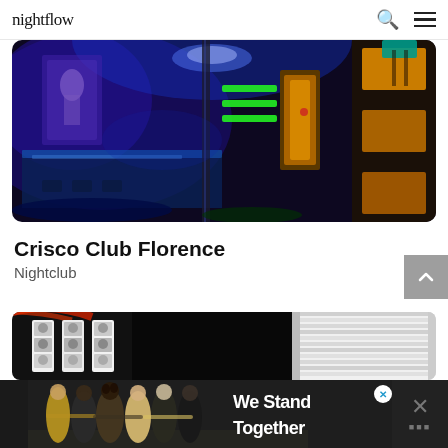nightflow
[Figure (photo): Interior of Crisco Club Florence nightclub, featuring blue and purple UV lighting, green neon stripes on dark walls, bar area with reflective surfaces, and orange/yellow geometric panels on the right]
Crisco Club Florence
Nightclub
[Figure (photo): Partial view of a second nightclub venue showing dark interior on left with photo booth strips visible, and a bright corridor with horizontal stripe pattern on the right]
[Figure (photo): Advertisement banner showing group of friends with backs to camera, arms around each other, with text 'We Stand Together' and a close button]